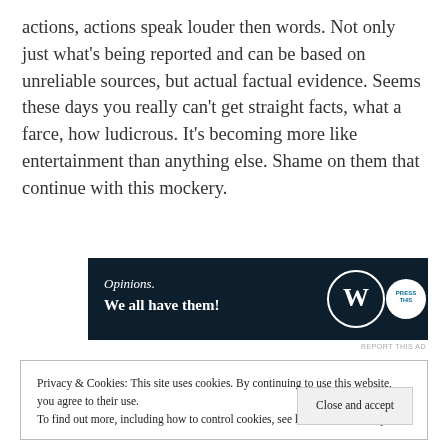actions, actions speak louder then words. Not only just what's being reported and can be based on unreliable sources, but actual factual evidence. Seems these days you really can't get straight facts, what a farce, how ludicrous. It's becoming more like entertainment than anything else. Shame on them that continue with this mockery.
[Figure (other): Advertisement banner with dark navy background. Text reads 'Opinions. We all have them!' with WordPress logo and another circular logo on the right.]
REPORT THIS AD
Privacy & Cookies: This site uses cookies. By continuing to use this website, you agree to their use.
To find out more, including how to control cookies, see here: Cookie Policy
Close and accept